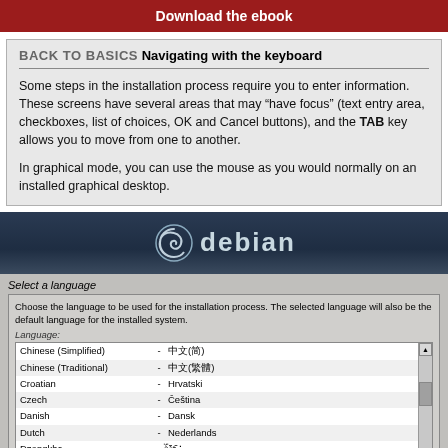Download the ebook
BACK TO BASICS Navigating with the keyboard
Some steps in the installation process require you to enter information. These screens have several areas that may “have focus” (text entry area, checkboxes, list of choices, OK and Cancel buttons), and the TAB key allows you to move from one to another.
In graphical mode, you can use the mouse as you would normally on an installed graphical desktop.
[Figure (screenshot): Debian installer language selection screen showing the Debian logo at top, 'Select a language' label, instruction text, and a list of languages including Chinese (Simplified), Chinese (Traditional), Croatian, Czech, Danish, Dutch, Dzongkha, English (selected/highlighted), Esperanto, Estonian.]